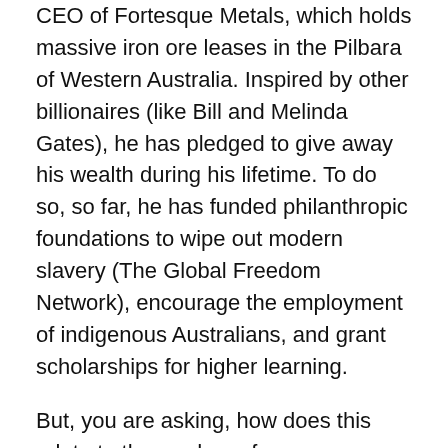CEO of Fortesque Metals, which holds massive iron ore leases in the Pilbara of Western Australia. Inspired by other billionaires (like Bill and Melinda Gates), he has pledged to give away his wealth during his lifetime. To do so, so far, he has funded philanthropic foundations to wipe out modern slavery (The Global Freedom Network), encourage the employment of indigenous Australians, and grant scholarships for higher learning.
But, you are asking, how does this relate to the readers of CleanTechnica? Let me tell you about what Twiggy is up to now. Twiggy Forest has established Fortesque Future Industries. Current projects include:
Successful combustion of ammonia to power locomotives and large marine vessels, including ore carriers.